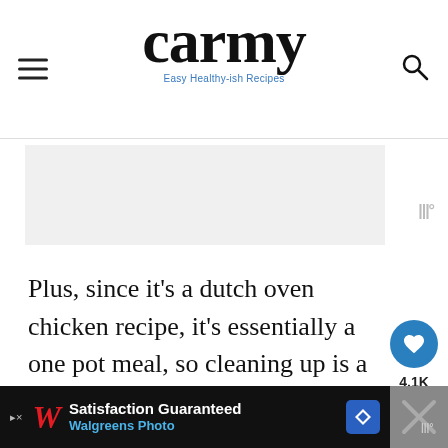carmy — Easy Healthy-ish Recipes
[Figure (other): Food photo placeholder area below header]
Plus, since it's a dutch oven chicken recipe, it's essentially a one pot meal, so cleaning up is a breeze.
[Figure (photo): Dutch oven chicken dish photo at bottom]
[Figure (other): WHAT'S NEXT — Herb Chicken Thighs promo box]
[Figure (other): Walgreens advertisement banner at bottom]